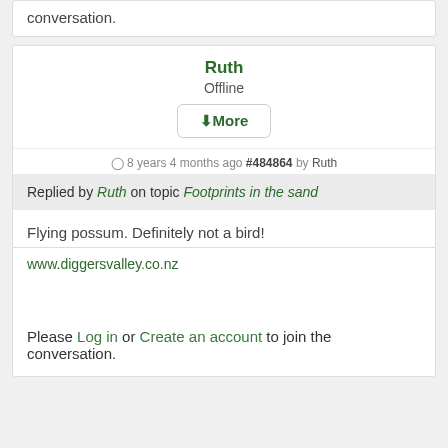conversation.
Ruth
Offline
▼More
8 years 4 months ago #484864 by Ruth
Replied by Ruth on topic Footprints in the sand
Flying possum. Definitely not a bird!
www.diggersvalley.co.nz
Please Log in or Create an account to join the conversation.